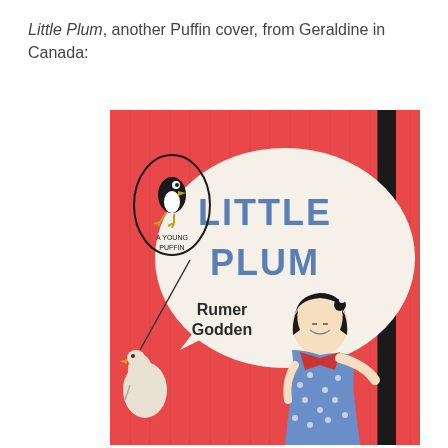Little Plum, another Puffin cover, from Geraldine in Canada:
[Figure (illustration): Book cover of 'Little Plum' by Rumer Godden, a Young Puffin paperback. Red background with a Japanese-style illustration of a girl in a blue kimono holding a pole, and a white goose/duck to the left. A large white speech bubble contains the title 'LITTLE PLUM' in blue block letters, and the author name 'Rumer Godden'. An oval puffin logo is in the upper left with text 'A YOUNG PUFFIN' underneath.]